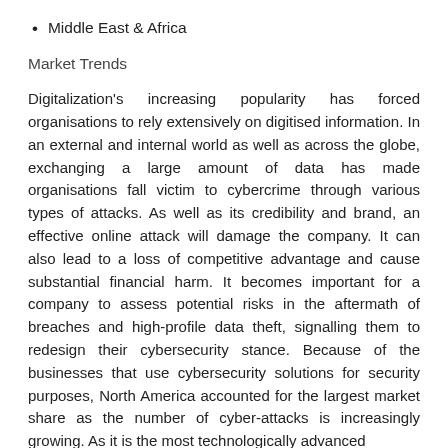Middle East & Africa
Market Trends
Digitalization's increasing popularity has forced organisations to rely extensively on digitised information. In an external and internal world as well as across the globe, exchanging a large amount of data has made organisations fall victim to cybercrime through various types of attacks. As well as its credibility and brand, an effective online attack will damage the company. It can also lead to a loss of competitive advantage and cause substantial financial harm. It becomes important for a company to assess potential risks in the aftermath of breaches and high-profile data theft, signalling them to redesign their cybersecurity stance. Because of the businesses that use cybersecurity solutions for security purposes, North America accounted for the largest market share as the number of cyber-attacks is increasingly growing. As it is the most technologically advanced